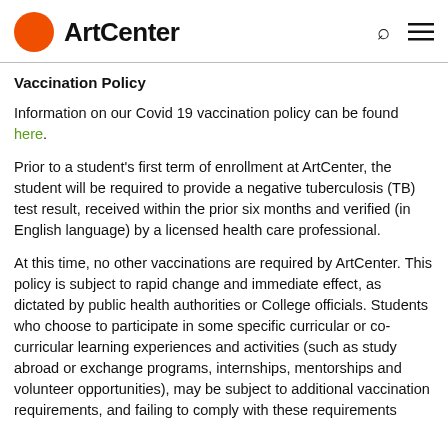ArtCenter
Vaccination Policy
Information on our Covid 19 vaccination policy can be found here.
Prior to a student's first term of enrollment at ArtCenter, the student will be required to provide a negative tuberculosis (TB) test result, received within the prior six months and verified (in English language) by a licensed health care professional.
At this time, no other vaccinations are required by ArtCenter. This policy is subject to rapid change and immediate effect, as dictated by public health authorities or College officials. Students who choose to participate in some specific curricular or co-curricular learning experiences and activities (such as study abroad or exchange programs, internships, mentorships and volunteer opportunities), may be subject to additional vaccination requirements, and failing to comply with these requirements